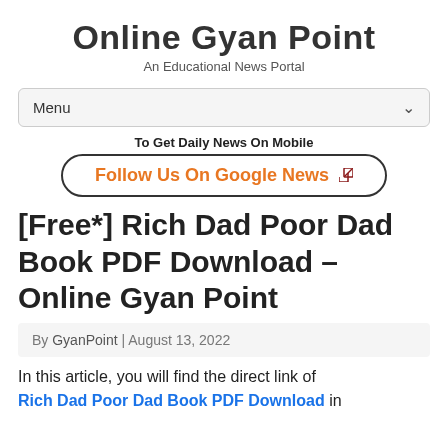Online Gyan Point
An Educational News Portal
Menu
To Get Daily News On Mobile
Follow Us On Google News
[Free*] Rich Dad Poor Dad Book PDF Download – Online Gyan Point
By GyanPoint | August 13, 2022
In this article, you will find the direct link of Rich Dad Poor Dad Book PDF Download in